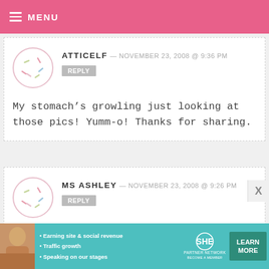MENU
ATTICELF — NOVEMBER 23, 2008 @ 9:36 PM
REPLY
My stomach’s growling just looking at those pics! Yumm-o! Thanks for sharing.
MS ASHLEY — NOVEMBER 23, 2008 @ 9:26 PM
REPLY
It looks gorgeous and so yummy! Nice job!!
[Figure (infographic): SHE Partner Network advertisement banner with photo of woman, bullet points about earning, traffic, and speaking, and a Learn More button]